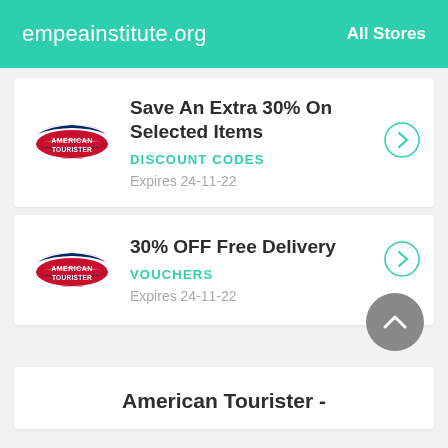empeainstitute.org    All Stores
Save An Extra 30% On Selected Items
DISCOUNT CODES
Expires 24-11-22
30% OFF Free Delivery
VOUCHERS
Expires 24-11-22
American Tourister -